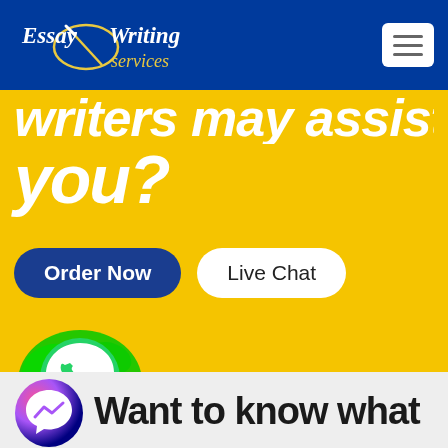[Figure (logo): Essay Writing Services logo with pen graphic on dark blue header background]
writers may assist you?
Order Now
Live Chat
[Figure (illustration): WhatsApp icon with green paint splash background]
[Figure (illustration): Facebook Messenger icon, pink to purple gradient]
Want to know what